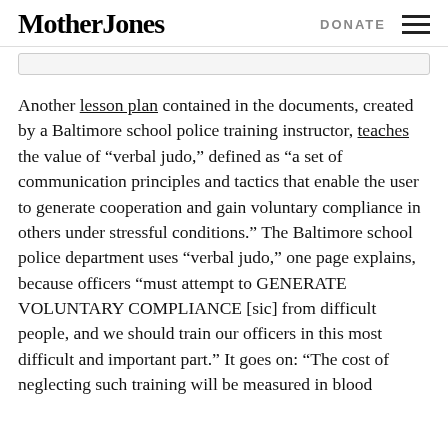Mother Jones | DONATE
Another lesson plan contained in the documents, created by a Baltimore school police training instructor, teaches the value of “verbal judo,” defined as “a set of communication principles and tactics that enable the user to generate cooperation and gain voluntary compliance in others under stressful conditions.” The Baltimore school police department uses “verbal judo,” one page explains, because officers “must attempt to GENERATE VOLUNTARY COMPLIANCE [sic] from difficult people, and we should train our officers in this most difficult and important part.” It goes on: “The cost of neglecting such training will be measured in blood